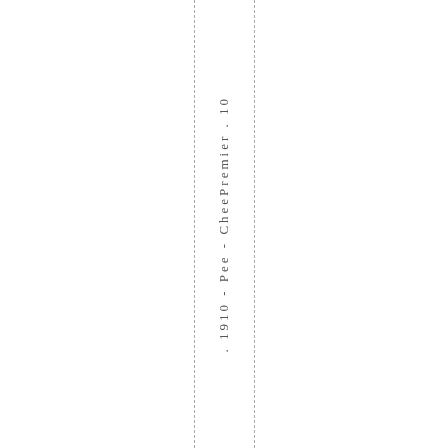. 1910 - Pee - CheePremier . 10